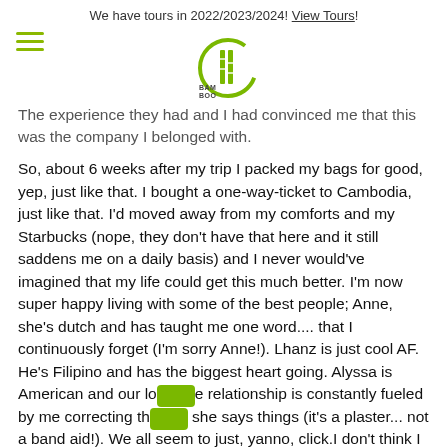We have tours in 2022/2023/2024! View Tours!
[Figure (logo): Bamboo company logo — circular green arc with bamboo stalks and the text BAM BOO]
The experience they had and I had convinced me that this was the company I belonged with.
So, about 6 weeks after my trip I packed my bags for good, yep, just like that. I bought a one-way-ticket to Cambodia, just like that. I'd moved away from my comforts and my Starbucks (nope, they don't have that here and it still saddens me on a daily basis) and I never would've imagined that my life could get this much better. I'm now super happy living with some of the best people; Anne, she's dutch and has taught me one word.... that I continuously forget (I'm sorry Anne!). Lhanz is just cool AF. He's Filipino and has the biggest heart going. Alyssa is American and our lo‌ve relationship is constantly fueled by me correcting th‌e she says things (it's a plaster... not a band aid!). We all seem to just, yanno, click.I don't think I could ever, and